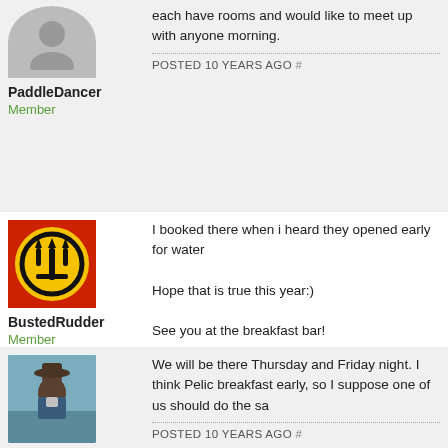each have rooms and would like to meet up with anyone morning.
POSTED 10 YEARS AGO #
PaddleDancer
Member
I booked there when i heard they opened early for water
Hope that is true this year:)
See you at the breakfast bar!
POSTED 10 YEARS AGO #
BustedRudder
Member
We will be there Thursday and Friday night.  I think Pelic breakfast early, so I suppose one of us should do the sa
POSTED 10 YEARS AGO #
Macatawa
Member
Left voice mail with Tiffany the manager explaining our p
There is strenghth in numbers so anyone staying there h